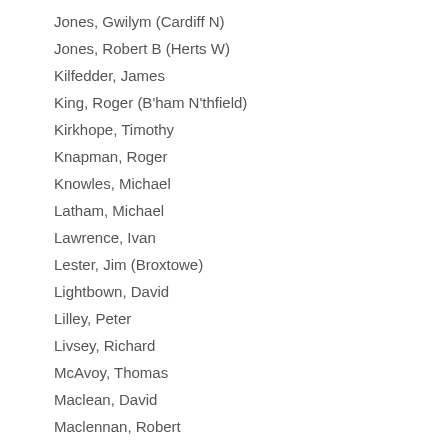Jones, Gwilym (Cardiff N)
Jones, Robert B (Herts W)
Kilfedder, James
King, Roger (B'ham N'thfield)
Kirkhope, Timothy
Knapman, Roger
Knowles, Michael
Latham, Michael
Lawrence, Ivan
Lester, Jim (Broxtowe)
Lightbown, David
Lilley, Peter
Livsey, Richard
McAvoy, Thomas
Maclean, David
Maclennan, Robert